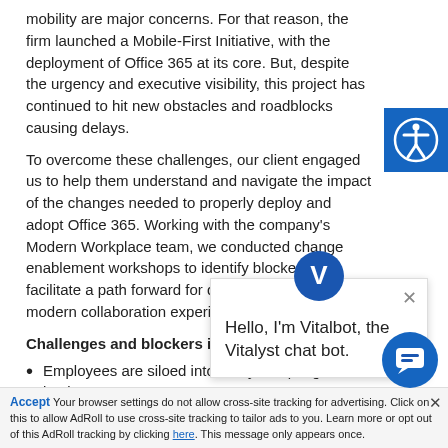mobility are major concerns. For that reason, the firm launched a Mobile-First Initiative, with the deployment of Office 365 at its core. But, despite the urgency and executive visibility, this project has continued to hit new obstacles and roadblocks causing delays.
To overcome these challenges, our client engaged us to help them understand and navigate the impact of the changes needed to properly deploy and adopt Office 365. Working with the company's Modern Workplace team, we conducted change enablement workshops to identify blockers and facilitate a path forward for deploying a mobile-first, modern collaboration experience.
Challenges and blockers identified include:
Employees are siloed into many, unique global business
[Figure (other): Blue square with white accessibility icon (person in circle)]
[Figure (other): Vitalbot chat popup with blue V logo, close button, and text: Hello, I'm Vitalbot, the Vitalyst chat bot.]
[Figure (other): Blue circular chat button in bottom right corner]
Your browser settings do not allow cross-site tracking for advertising. Click on this to allow AdRoll to use cross-site tracking to tailor ads to you. Learn more or opt out of this AdRoll tracking by clicking here. This message only appears once.